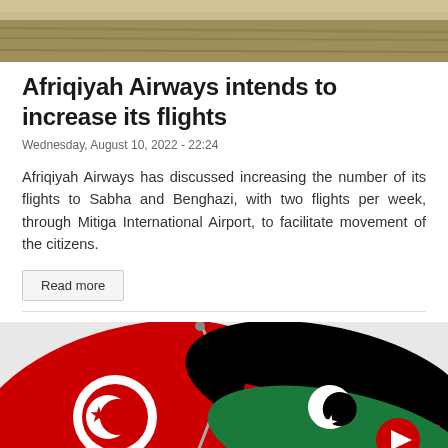[Figure (photo): Aerial or landscape photo showing a dry, grassy field or terrain, partially cropped at top.]
Afriqiyah Airways intends to increase its flights
Wednesday, August 10, 2022 - 22:24
Afriqiyah Airways has discussed increasing the number of its flights to Sabha and Benghazi, with two flights per week, through Mitiga International Airport, to facilitate movement of the citizens.
Read more
[Figure (photo): Photo of two crossed flags on poles — the Tunisian flag (red with white circle and red crescent/star) on the left, and the Libyan flag (black, red, green horizontal stripes with white crescent and star) on the right. A red play/video button icon is visible in the lower right.]